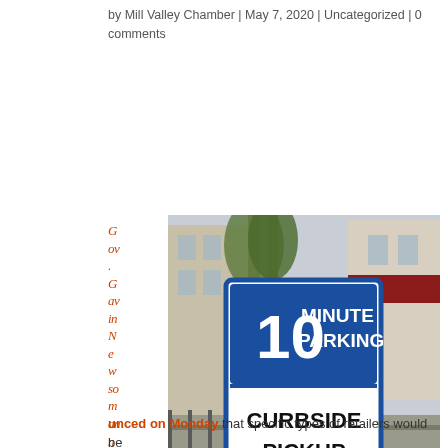by Mill Valley Chamber | May 7, 2020 | Uncategorized | 0 comments
Gov. Gavin Newsom announced on Monday that specific types of retailers would be
[Figure (photo): A sandwich board sign reading '10 MINUTE PARKING / CURBSIDE PICKUP ONLY' on a sidewalk near a parking area with buildings in the background.]